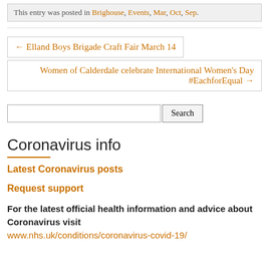This entry was posted in Brighouse, Events, Mar, Oct, Sep.
← Elland Boys Brigade Craft Fair March 14
Women of Calderdale celebrate International Women's Day #EachforEqual →
Search
Coronavirus info
Latest Coronavirus posts
Request support
For the latest official health information and advice about Coronavirus visit www.nhs.uk/conditions/coronavirus-covid-19/